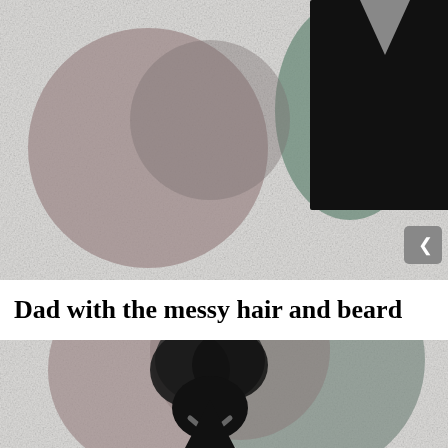[Figure (illustration): Abstract geometric illustration of a figure with dark shirt/jacket with V-neck, overlapping circles in muted mauve/dusty rose and sage green tones on a light grey textured background, representing a stylized person viewed from above/front]
Dad with the messy hair and beard
[Figure (illustration): Abstract geometric illustration of a figure with messy dark hair (black spatter/cloud shape), overlapping circles in muted mauve and sage green, a black triangular body shape below, and a small chevron/beard detail, on a light grey textured background]